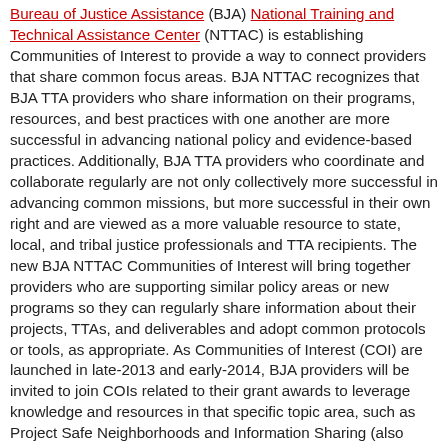Bureau of Justice Assistance (BJA) National Training and Technical Assistance Center (NTTAC) is establishing Communities of Interest to provide a way to connect providers that share common focus areas. BJA NTTAC recognizes that BJA TTA providers who share information on their programs, resources, and best practices with one another are more successful in advancing national policy and evidence-based practices. Additionally, BJA TTA providers who coordinate and collaborate regularly are not only collectively more successful in advancing common missions, but more successful in their own right and are viewed as a more valuable resource to state, local, and tribal justice professionals and TTA recipients. The new BJA NTTAC Communities of Interest will bring together providers who are supporting similar policy areas or new programs so they can regularly share information about their projects, TTAs, and deliverables and adopt common protocols or tools, as appropriate. As Communities of Interest (COI) are launched in late-2013 and early-2014, BJA providers will be invited to join COIs related to their grant awards to leverage knowledge and resources in that specific topic area, such as Project Safe Neighborhoods and Information Sharing (also known as the Justice TTA Committee). Communities of Interest will consist of BJA TTA providers, BJA policy advisors, and NTTAC support staff and meetings will be held in-person, as well as through teleconferences and webinars. During these meetings, providers can share information about their TTA activities, new or helpful resources, and promising